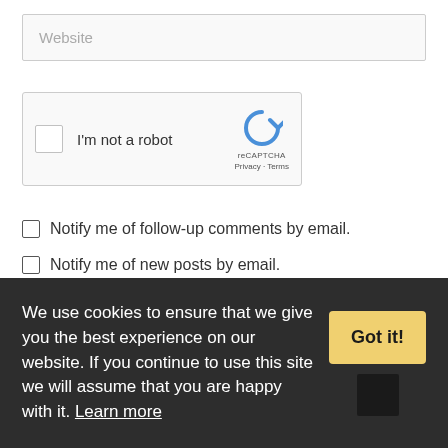Website
[Figure (other): reCAPTCHA widget with checkbox labeled I'm not a robot, reCAPTCHA logo, Privacy and Terms links]
Notify me of follow-up comments by email.
Notify me of new posts by email.
We use cookies to ensure that we give you the best experience on our website. If you continue to use this site we will assume that you are happy with it. Learn more
[Figure (other): Got it! button in yellow/gold color for cookie consent banner]